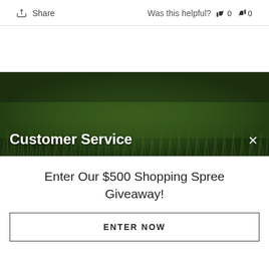Share   Was this helpful?  👍 0  👎 0
[Figure (photo): Dark green grass background used as banner image for Customer Service section. Has a close (X) button in the top right and 'Customer Service' label in bold white text at the bottom left.]
Enter Our $500 Shopping Spree Giveaway!
ENTER NOW